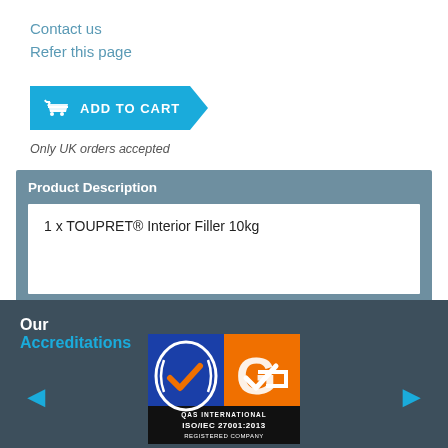Contact us
Refer this page
[Figure (other): Add to Cart button with shopping cart icon, cyan/teal color with arrow shape]
Only UK orders accepted
Product Description
1 x TOUPRET® Interior Filler 10kg
Our Accreditations
[Figure (logo): QAS International ISO/IEC 27001:2013 Registered Company certification badge with orange and blue colors]